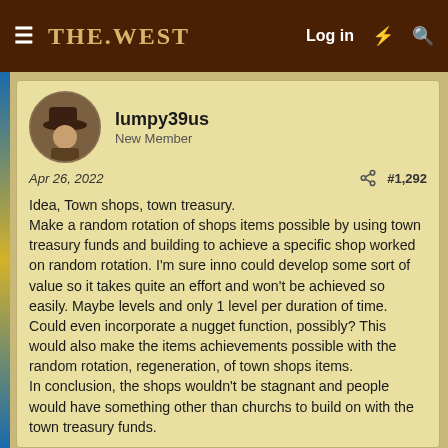The West — navigation bar with Log in
lumpy39us
New Member
Apr 26, 2022   #1,292
Idea, Town shops, town treasury.
Make a random rotation of shops items possible by using town treasury funds and building to achieve a specific shop worked on random rotation. I'm sure inno could develop some sort of value so it takes quite an effort and won't be achieved so easily. Maybe levels and only 1 level per duration of time. Could even incorporate a nugget function, possibly? This would also make the items achievements possible with the random rotation, regeneration, of town shops items.
In conclusion, the shops wouldn't be stagnant and people would have something other than churchs to build on with the town treasury funds.
Goober Pyle